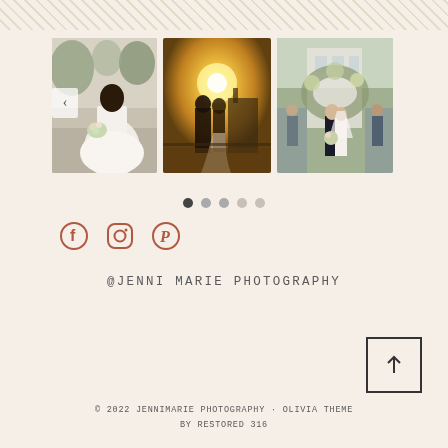[Figure (photo): Three wedding photography images in a horizontal gallery with a left arrow navigation and dot indicators below. Photos show: (1) bride in white dress holding bouquet, (2) couple in golden sunset light, (3) bride and groom walking through flower arch with guests]
[Figure (illustration): Social media icons: Facebook, Instagram, Pinterest]
@JENNI MARIE PHOTOGRAPHY
[Figure (illustration): Back-to-top arrow button in a square border]
© 2022 JENNIMARIE PHOTOGRAPHY · OLIVIA THEME BY RESTORED 316